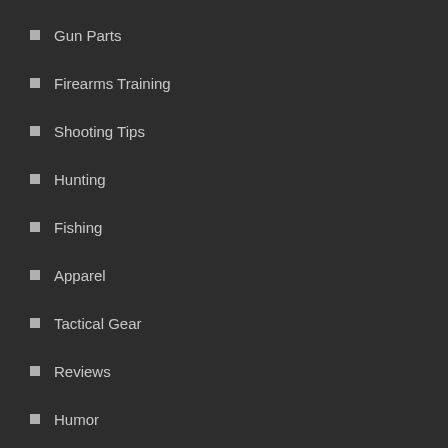Gun Parts
Firearms Training
Shooting Tips
Hunting
Fishing
Apparel
Tactical Gear
Reviews
Humor
Recipes
SHOT Show
News
Videos